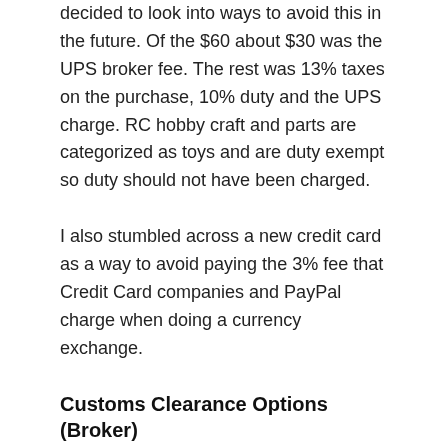decided to look into ways to avoid this in the future. Of the $60 about $30 was the UPS broker fee. The rest was 13% taxes on the purchase, 10% duty and the UPS charge. RC hobby craft and parts are categorized as toys and are duty exempt so duty should not have been charged.
I also stumbled across a new credit card as a way to avoid paying the 3% fee that Credit Card companies and PayPal charge when doing a currency exchange.
Customs Clearance Options (Broker)